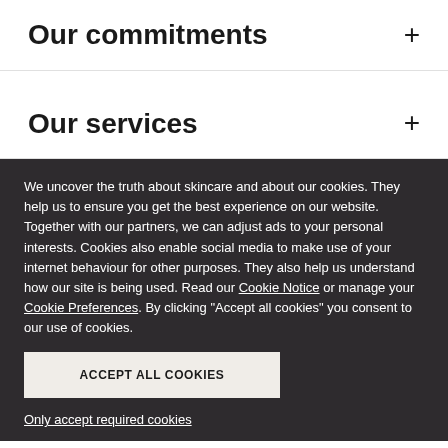Our commitments
Our services
We uncover the truth about skincare and about our cookies. They help us to ensure you get the best experience on our website. Together with our partners, we can adjust ads to your personal interests. Cookies also enable social media to make use of your internet behaviour for other purposes. They also help us understand how our site is being used. Read our Cookie Notice or manage your Cookie Preferences. By clicking "Accept all cookies" you consent to our use of cookies.
ACCEPT ALL COOKIES
Only accept required cookies